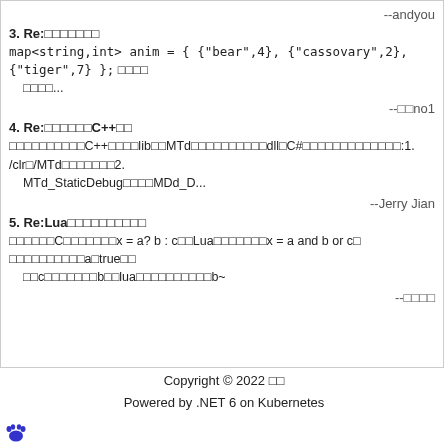--andyou
3. Re:□□□□□□□
map<string,int> anim = { {"bear",4}, {"cassovary",2}, {"tiger",7} }; □□□□ □□□□...
--□□no1
4. Re:□□□□□□C++□□
□□□□□□□□□□C++□□□□lib□□MTd□□□□□□□□□□dll□C#□□□□□□□□□□□□□:1. /clr□/MTd□□□□□□□2. MTd_StaticDebug□□□□MDd_D...
--Jerry Jian
5. Re:Lua□□□□□□□□□□
□□□□□□C□□□□□□□x = a? b : c□□Lua□□□□□□□x = a and b or c□ □□□□□□□□□□a□true□□ □□c□□□□□□□b□□lua□□□□□□□□□□b~
--□□□□
Copyright © 2022 □□
Powered by .NET 6 on Kubernetes